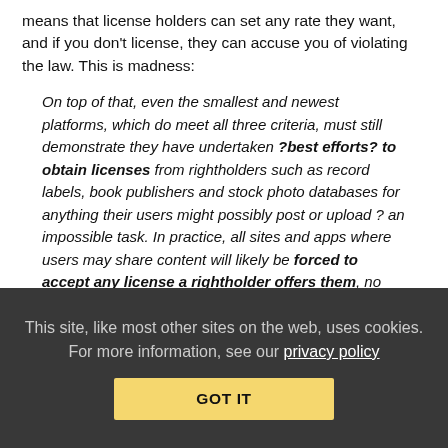means that license holders can set any rate they want, and if you don't license, they can accuse you of violating the law. This is madness:
On top of that, even the smallest and newest platforms, which do meet all three criteria, must still demonstrate they have undertaken ?best efforts? to obtain licenses from rightholders such as record labels, book publishers and stock photo databases for anything their users might possibly post or upload ? an impossible task. In practice, all sites and apps where users may share content will likely be forced to accept any license a rightholder offers them, no matter how bad the terms, and no matter whether they actually want that rightholder?s copyrighted material to be available on their platform, to avoid the massive
This site, like most other sites on the web, uses cookies. For more information, see our privacy policy
GOT IT